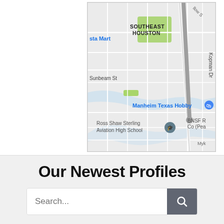[Figure (map): Google Maps screenshot showing Southeast Houston area, with labels for 'sta Mart', 'Sunbeam St', 'SOUTHEAST HOUSTON', 'Manheim Texas Hobby', 'Ross Shaw Sterling Aviation High School', 'BNSF R Co (Pea', 'Kopman Dr'. A gray road/pin appears near the right side. Green park areas visible.]
Our Newest Profiles
Search...